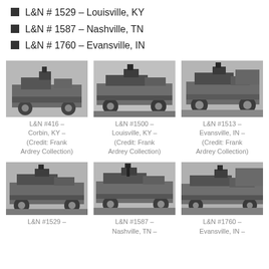L&N # 1529 – Louisville, KY
L&N # 1587 – Nashville, TN
L&N # 1760 – Evansville, IN
[Figure (photo): Black and white photo of steam locomotive L&N #416 at Corbin, KY]
L&N #416 – Corbin, KY – (Credit: Frank Ardrey Collection)
[Figure (photo): Black and white photo of steam locomotive L&N #1500 at Louisville, KY]
L&N #1500 – Louisville, KY – (Credit: Frank Ardrey Collection)
[Figure (photo): Black and white photo of steam locomotive L&N #1513 at Evansville, IN]
L&N #1513 – Evansville, IN – (Credit: Frank Ardrey Collection)
[Figure (photo): Black and white photo of steam locomotive L&N #1529]
L&N #1529 –
[Figure (photo): Black and white photo of steam locomotive L&N #1587 at Nashville, TN]
L&N #1587 – Nashville, TN –
[Figure (photo): Black and white photo of steam locomotive L&N #1760 at Evansville, IN]
L&N #1760 – Evansville, IN –